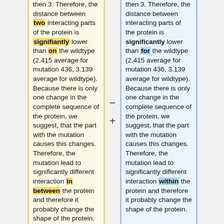then 3. Therefore, the distance between two interacting parts of the protein is signifiantly lower than on the wildtype (2.415 average for mutation 436, 3.139 average for wildtype). Because there is only one change in the complete sequence of the protein, we suggest, that the part with the mutation causes this changes. Therefore, the mutation lead to significantly different interaction in between the protein and therefore it probably change the shape of the protein.
then 3. Therefore, the distance between interacting parts of the protein is significantly lower than for the wildtype (2.415 average for mutation 436, 3.139 average for wildtype). Because there is only one change in the complete sequence of the protein, we suggest, that the part with the mutation causes this changes. Therefore, the mutation lead to significantly different interaction within the protein and therefore it probably change the shape of the protein.